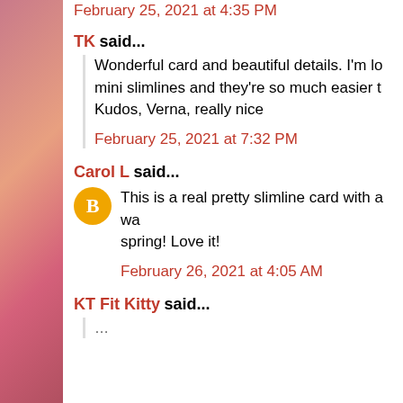February 25, 2021 at 4:35 PM
TK said...
Wonderful card and beautiful details. I'm lo mini slimlines and they're so much easier Kudos, Verna, really nice
February 25, 2021 at 7:32 PM
Carol L said...
This is a real pretty slimline card with a wa spring! Love it!
February 26, 2021 at 4:05 AM
KT Fit Kitty said...